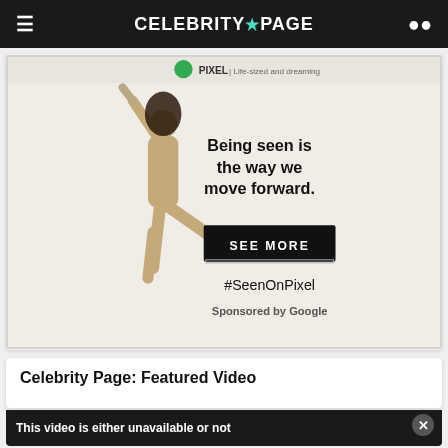Celebrity Page
[Figure (photo): Google Pixel advertisement showing a person in a beige jumpsuit leaping/dancing with one arm raised, text reads 'Being seen is the way we move forward.' with a 'SEE MORE' button, '#SeenOnPixel' hashtag, and 'Sponsored by Google' label]
Celebrity Page: Featured Video
[Figure (screenshot): Dark video player placeholder with an X close button showing text 'This video is either unavailable or not']